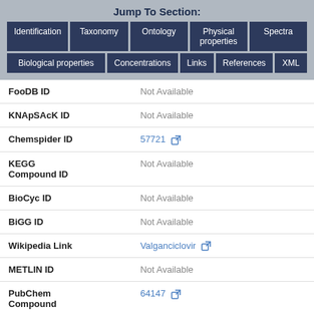Jump To Section:
Identification | Taxonomy | Ontology | Physical properties | Spectra | Biological properties | Concentrations | Links | References | XML
| Field | Value |
| --- | --- |
| FooDB ID | Not Available |
| KNApSAcK ID | Not Available |
| Chemspider ID | 57721 |
| KEGG Compound ID | Not Available |
| BioCyc ID | Not Available |
| BiGG ID | Not Available |
| Wikipedia Link | Valganciclovir |
| METLIN ID | Not Available |
| PubChem Compound | 64147 |
| PDB ID | Not Available |